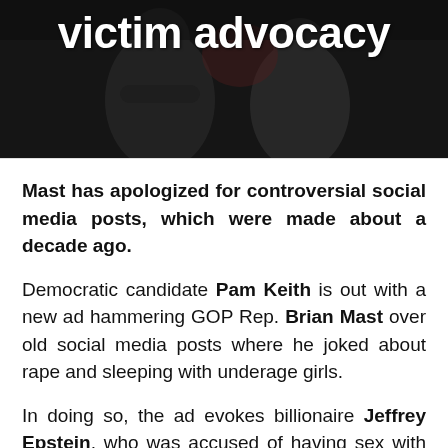[Figure (photo): Dark hero image with silhouetted figures, overlaid with bold white text reading 'victim advocacy']
Mast has apologized for controversial social media posts, which were made about a decade ago.
Democratic candidate Pam Keith is out with a new ad hammering GOP Rep. Brian Mast over old social media posts where he joked about rape and sleeping with underage girls.
In doing so, the ad evokes billionaire Jeffrey Epstein, who was accused of having sex with dozens of underage girls and died in prison while awaiting charges on those crimes.
Keith's ad is already running on TV stations…